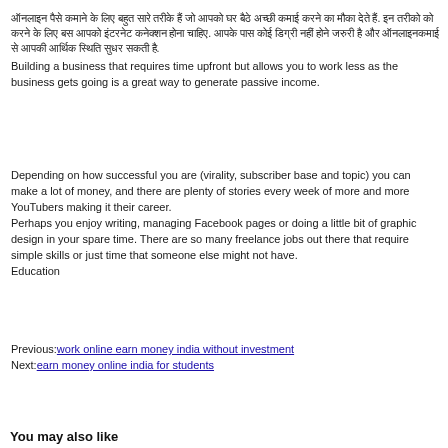[Hindi text] Building a business that requires time upfront but allows you to work less as the business gets going is a great way to generate passive income.
Depending on how successful you are (virality, subscriber base and topic) you can make a lot of money, and there are plenty of stories every week of more and more YouTubers making it their career. Perhaps you enjoy writing, managing Facebook pages or doing a little bit of graphic design in your spare time. There are so many freelance jobs out there that require simple skills or just time that someone else might not have. Education
Previous: work online earn money india without investment
Next: earn money online india for students
You may also like